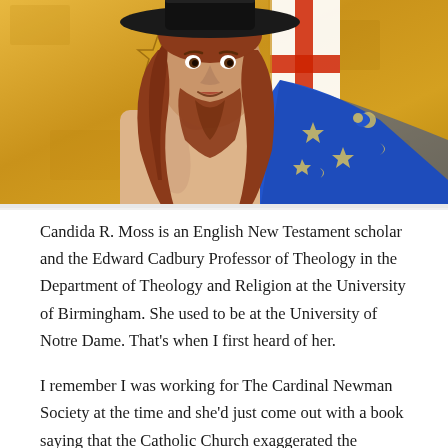[Figure (illustration): Illustration of a bearded man with long reddish-brown hair wearing a wide-brimmed black hat, bare-chested, holding a staff topped with a gold star shape and a flag/banner with a red cross on white. He wears a blue robe with gold stars and crescent moons. Golden textured background.]
Candida R. Moss is an English New Testament scholar and the Edward Cadbury Professor of Theology in the Department of Theology and Religion at the University of Birmingham. She used to be at the University of Notre Dame. That's when I first heard of her.
I remember I was working for The Cardinal Newman Society at the time and she'd just come out with a book saying that the Catholic Church exaggerated the number of early martyrs in order to gain followers. Seems counter-